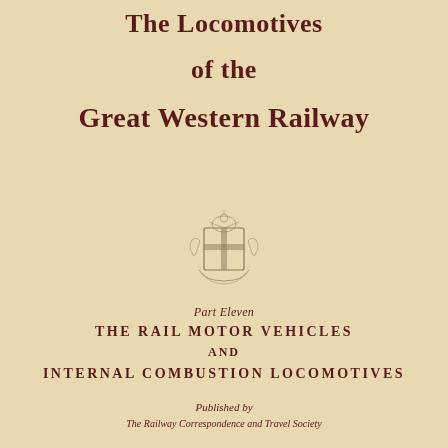The Locomotives of the Great Western Railway
[Figure (illustration): A heraldic crest/coat of arms, lightly printed in grey-brown, featuring a cross, shield, supporters and decorative elements]
Part Eleven
THE RAIL MOTOR VEHICLES AND INTERNAL COMBUSTION LOCOMOTIVES
Published by The Railway Correspondence and Travel Society